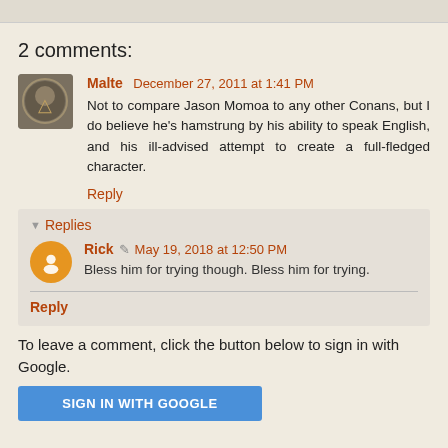2 comments:
Malte  December 27, 2011 at 1:41 PM
Not to compare Jason Momoa to any other Conans, but I do believe he's hamstrung by his ability to speak English, and his ill-advised attempt to create a full-fledged character.
Reply
Replies
Rick  May 19, 2018 at 12:50 PM
Bless him for trying though. Bless him for trying.
Reply
To leave a comment, click the button below to sign in with Google.
SIGN IN WITH GOOGLE